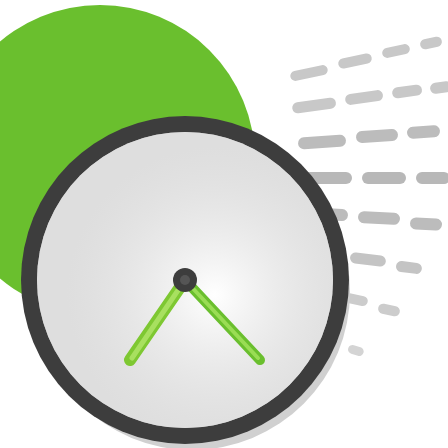[Figure (illustration): A stylized illustration of a clock with green and light green clock hands showing approximately 7:35, set against a dark gray circular border with a white face and a light gray shadow/3D effect. A large green semi-circle fills the upper-left behind the clock. To the right of the clock, multiple rows of short gray rounded dashes radiate outward in a diagonal pattern, representing motion speed lines, getting smaller and more spaced out toward the lower right.]